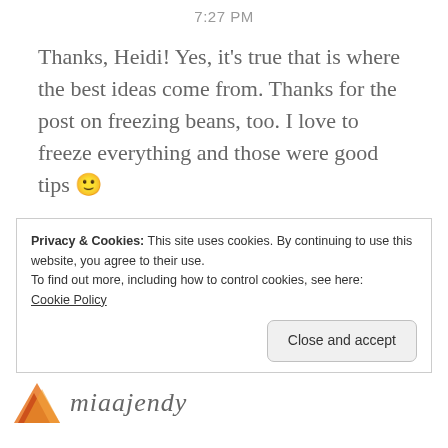7:27 PM
Thanks, Heidi! Yes, it's true that is where the best ideas come from. Thanks for the post on freezing beans, too. I love to freeze everything and those were good tips 🙂
Privacy & Cookies: This site uses cookies. By continuing to use this website, you agree to their use.
To find out more, including how to control cookies, see here:
Cookie Policy
Close and accept
[Figure (logo): Partial logo icon in orange/red tones at bottom left, with italic text 'miaajendy' next to it]